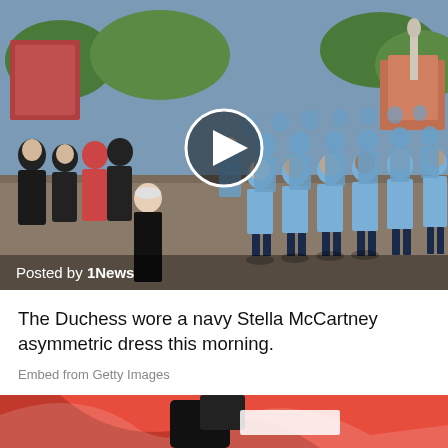[Figure (photo): Outdoor scene with schoolchildren in light blue uniforms standing in rows on a road, facing away from camera. A woman in black stands to the left. Crowd visible in background with trees and buildings. Video play button overlay. Caption reads 'Posted by 1News'.]
The Duchess wore a navy Stella McCartney asymmetric dress this morning.
Embed from Getty Images
[Figure (photo): Partial view of a Getty Images embed showing a red and white graphic with a person visible.]